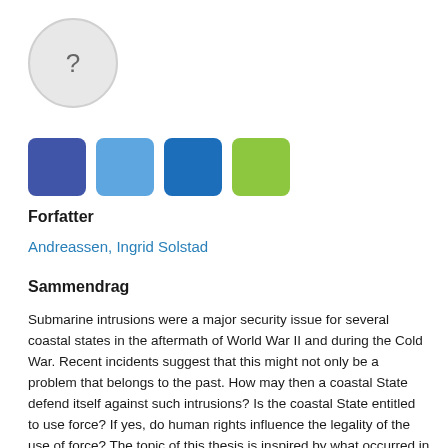[Figure (illustration): A grey circle with a question mark inside, representing a placeholder avatar image]
[Figure (illustration): Four colored square swatches in a row: dark blue/purple, light blue, medium blue, lime green]
Forfatter
Andreassen, Ingrid Solstad
Sammendrag
Submarine intrusions were a major security issue for several coastal states in the aftermath of World War II and during the Cold War. Recent incidents suggest that this might not only be a problem that belongs to the past. How may then a coastal State defend itself against such intrusions? Is the coastal State entitled to use force? If yes, do human rights influence the legality of the use of force? The topic of this thesis is inspired by what occurred in the Swedish territorial sea in October 2014. Sweden used substantial resources and non-lethal measures to locate what is likely to have been a submarine, without any success. In the aftermath of